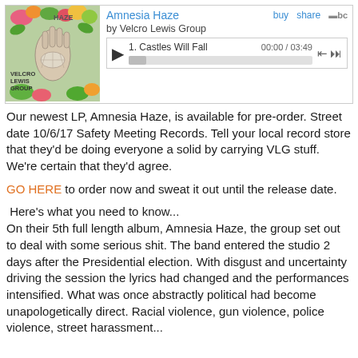[Figure (screenshot): Bandcamp music player widget showing album 'Amnesia Haze' by Velcro Lewis Group with track 1 'Castles Will Fall' 00:00 / 03:49, play button, seek bar, and buy/share controls. Album art shows illustrated hand with flowers and text 'VELCRO LEWIS GROUP'.]
Our newest LP, Amnesia Haze, is available for pre-order. Street date 10/6/17 Safety Meeting Records. Tell your local record store that they'd be doing everyone a solid by carrying VLG stuff. We're certain that they'd agree.
GO HERE to order now and sweat it out until the release date.
Here's what you need to know...
On their 5th full length album, Amnesia Haze, the group set out to deal with some serious shit. The band entered the studio 2 days after the Presidential election. With disgust and uncertainty driving the session the lyrics had changed and the performances intensified. What was once abstractly political had become unapologetically direct. Racial violence, gun violence, police violence, street harassment...